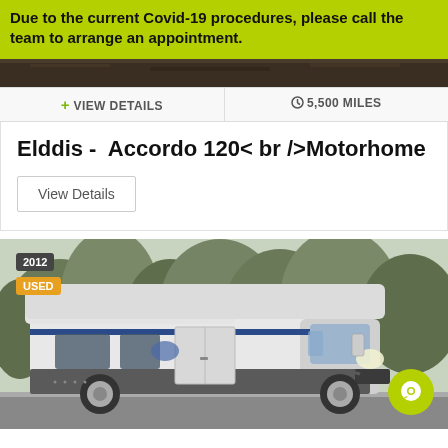Due to the current Covid-19 procedures, please call the team to arrange an appointment.
[Figure (photo): Dark gravel/ground photo strip at top of vehicle listing card]
+ VIEW DETAILS   ⊙ 5,500 MILES
Elddis -  Accordo 120< br />Motorhome
View Details
[Figure (photo): 2012 used Elddis Accordo motorhome parked on road with trees in background. Badge shows 2012 and USED. Green chat button in bottom right.]